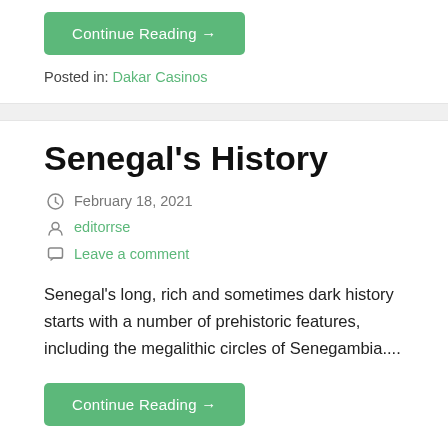Continue Reading →
Posted in: Dakar Casinos
Senegal's History
February 18, 2021
editorrse
Leave a comment
Senegal's long, rich and sometimes dark history starts with a number of prehistoric features, including the megalithic circles of Senegambia....
Continue Reading →